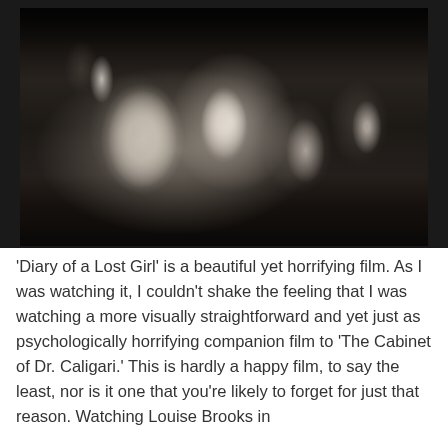[Figure (photo): Black and white still from a film showing a woman with a dark bob haircut in a white dress surrounded by men in formal evening wear (tuxedos). The scene appears to be from a 1920s or early 1930s silent film.]
'Diary of a Lost Girl' is a beautiful yet horrifying film. As I was watching it, I couldn't shake the feeling that I was watching a more visually straightforward and yet just as psychologically horrifying companion film to 'The Cabinet of Dr. Caligari.' This is hardly a happy film, to say the least, nor is it one that you're likely to forget for just that reason. Watching Louise Brooks in